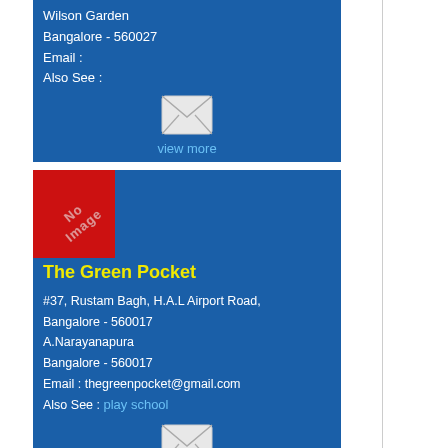Wilson Garden
Bangalore - 560027
Email :
Also See :
[Figure (illustration): Envelope icon for email]
view more
[Figure (illustration): No Image placeholder - red square with diagonal white text saying No Image]
The Green Pocket
#37, Rustam Bagh, H.A.L Airport Road,
Bangalore - 560017
A.Narayanapura
Bangalore - 560017
Email : thegreenpocket@gmail.com
Also See : play school
[Figure (illustration): Envelope icon for email]
view more